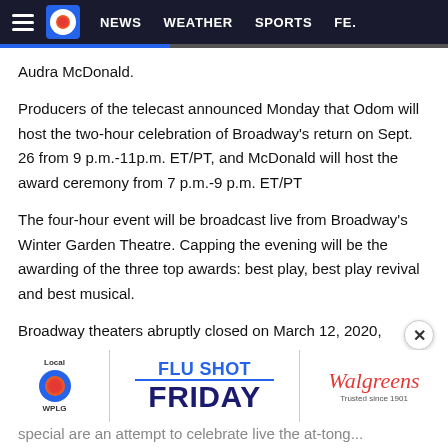NEWS   WEATHER   SPORTS   FE...
Audra McDonald.
Producers of the telecast announced Monday that Odom will host the two-hour celebration of Broadway's return on Sept. 26 from 9 p.m.-11p.m. ET/PT, and McDonald will host the award ceremony from 7 p.m.-9 p.m. ET/PT
The four-hour event will be broadcast live from Broadway's Winter Garden Theatre. Capping the evening will be the awarding of the three top awards: best play, best play revival and best musical.
Broadway theaters abruptly closed on March 12, 2020,
[Figure (screenshot): Advertisement banner featuring Local 10 WPLG logo, Flu Shot Friday text with Walgreens branding]
special are an attempt to celebrate live the at-tong...